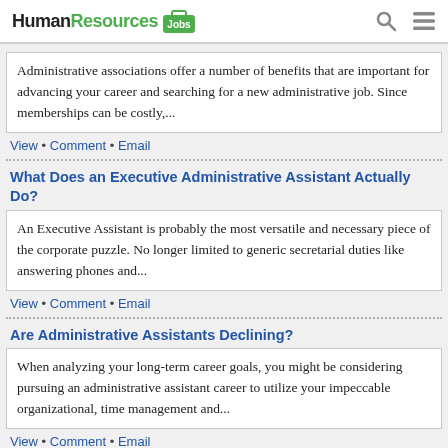HumanResources Jobma
Administrative associations offer a number of benefits that are important for advancing your career and searching for a new administrative job. Since memberships can be costly,...
View • Comment • Email
What Does an Executive Administrative Assistant Actually Do?
An Executive Assistant is probably the most versatile and necessary piece of the corporate puzzle. No longer limited to generic secretarial duties like answering phones and...
View • Comment • Email
Are Administrative Assistants Declining?
When analyzing your long-term career goals, you might be considering pursuing an administrative assistant career to utilize your impeccable organizational, time management and...
View • Comment • Email
Three Skills for the Unique Administrative Assistant